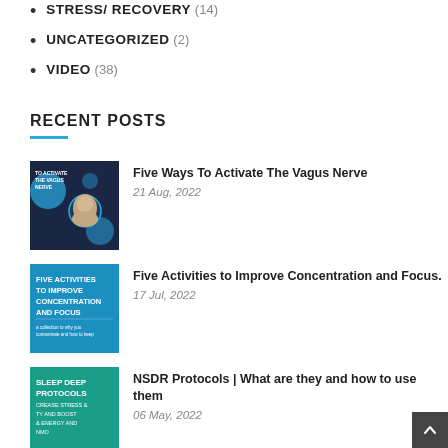STRESS/ RECOVERY (14)
UNCATEGORIZED (2)
VIDEO (38)
RECENT POSTS
[Figure (photo): Dark blue background with circles and a man's photo, text: TO ACTIVATE THE VAGUS NERVE]
Five Ways To Activate The Vagus Nerve
21 Aug, 2022
[Figure (photo): Bright blue background with white text: FIVE ACTIVITIES TO IMPROVE CONCENTRATION AND FOCUS]
Five Activities to Improve Concentration and Focus.
17 Jul, 2022
[Figure (photo): Teal/blue background with white text: SLEEP DEEP PROTOCOLS CREASE STRESS & TY AND BOOST & ENERGY AND NMO]
NSDR Protocols | What are they and how to use them
06 May, 2022